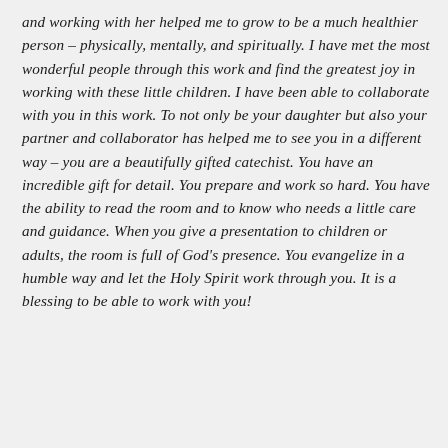and working with her helped me to grow to be a much healthier person – physically, mentally, and spiritually. I have met the most wonderful people through this work and find the greatest joy in working with these little children. I have been able to collaborate with you in this work. To not only be your daughter but also your partner and collaborator has helped me to see you in a different way – you are a beautifully gifted catechist. You have an incredible gift for detail. You prepare and work so hard. You have the ability to read the room and to know who needs a little care and guidance. When you give a presentation to children or adults, the room is full of God's presence. You evangelize in a humble way and let the Holy Spirit work through you. It is a blessing to be able to work with you!